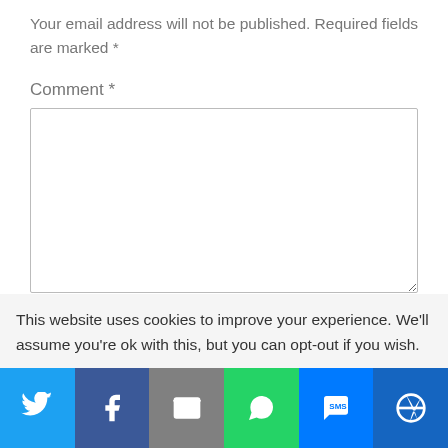Your email address will not be published. Required fields are marked *
Comment *
[Figure (screenshot): Comment text input box (textarea)]
This website uses cookies to improve your experience. We'll assume you're ok with this, but you can opt-out if you wish.
[Figure (infographic): Social sharing bar with Twitter, Facebook, Email, WhatsApp, SMS, and More buttons]